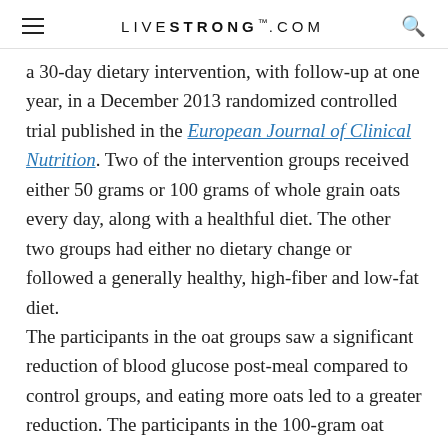LIVESTRONG.COM
a 30-day dietary intervention, with follow-up at one year, in a December 2013 randomized controlled trial published in the European Journal of Clinical Nutrition. Two of the intervention groups received either 50 grams or 100 grams of whole grain oats every day, along with a healthful diet. The other two groups had either no dietary change or followed a generally healthy, high-fiber and low-fat diet.
The participants in the oat groups saw a significant reduction of blood glucose post-meal compared to control groups, and eating more oats led to a greater reduction. The participants in the 100-gram oat group even showed modest weight loss at one year.